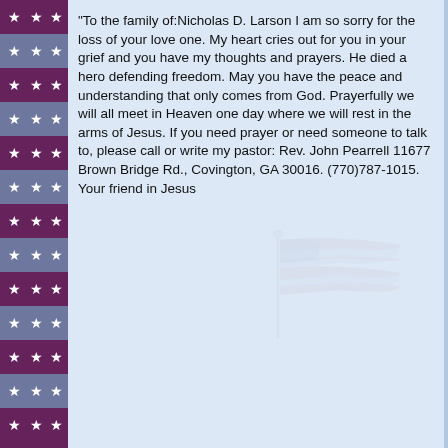[Figure (illustration): Left-side patriotic border with American flag pattern: blue canton with white stars and alternating red and white stripes running vertically]
"To the family of:Nicholas D. Larson I am so sorry for the loss of your love one. My heart cries out for you in your grief and you have my thoughts and prayers. He died a hero defending freedom. May you have the peace and understanding that only comes from God. Prayerfully we will all meet in Heaven one day where we will rest in the arms of Jesus. If you need prayer or need someone to talk to, please call or write my pastor: Rev. John Pearrell 11677 Brown Bridge Rd., Covington, GA 30016. (770)787-1015.
Your friend in Jesus
[Figure (illustration): Faded/watermark American flag image in lower right of the text area]